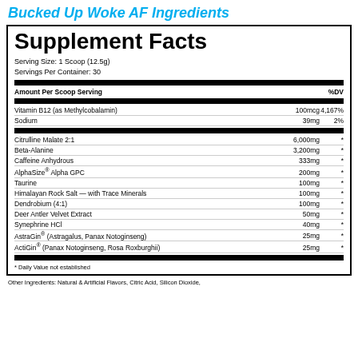Bucked Up Woke AF Ingredients
| Ingredient | Amount | %DV |
| --- | --- | --- |
| Vitamin B12 (as Methylcobalamin) | 100mcg | 4,167% |
| Sodium | 39mg | 2% |
| Citrulline Malate 2:1 | 6,000mg | * |
| Beta-Alanine | 3,200mg | * |
| Caffeine Anhydrous | 333mg | * |
| AlphaSize® Alpha GPC | 200mg | * |
| Taurine | 100mg | * |
| Himalayan Rock Salt — with Trace Minerals | 100mg | * |
| Dendrobium (4:1) | 100mg | * |
| Deer Antler Velvet Extract | 50mg | * |
| Synephrine HCl | 40mg | * |
| AstraGin® (Astragalus, Panax Notoginseng) | 25mg | * |
| ActiGin® (Panax Notoginseng, Rosa Roxburghii) | 25mg | * |
* Daily Value not established
Other Ingredients: Natural & Artificial Flavors, Citric Acid, Silicon Dioxide,